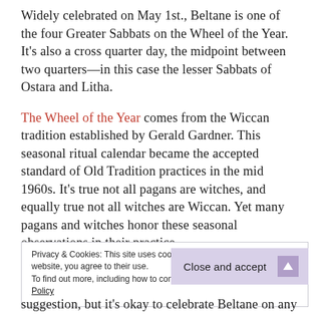Widely celebrated on May 1st., Beltane is one of the four Greater Sabbats on the Wheel of the Year. It's also a cross quarter day, the midpoint between two quarters—in this case the lesser Sabbats of Ostara and Litha.
The Wheel of the Year comes from the Wiccan tradition established by Gerald Gardner. This seasonal ritual calendar became the accepted standard of Old Tradition practices in the mid 1960s. It's true not all pagans are witches, and equally true not all witches are Wiccan. Yet many pagans and witches honor these seasonal observations in their practice.
Privacy & Cookies: This site uses cookies. By continuing to use this website, you agree to their use.
To find out more, including how to control cookies, see here: Cookie Policy
Close and accept
suggestion, but it's okay to celebrate Beltane on any